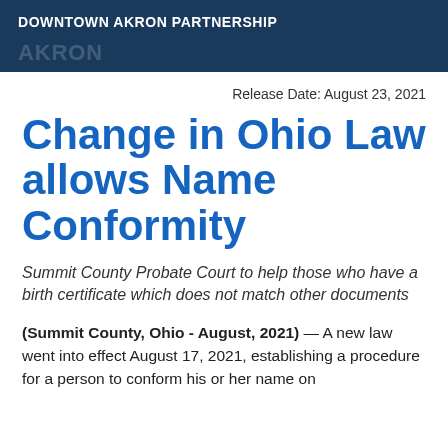DOWNTOWN AKRON PARTNERSHIP
Release Date: August 23, 2021
Change in Ohio Law allows Name Conformity
Summit County Probate Court to help those who have a birth certificate which does not match other documents
(Summit County, Ohio - August, 2021) — A new law went into effect August 17, 2021, establishing a procedure for a person to conform his or her name on